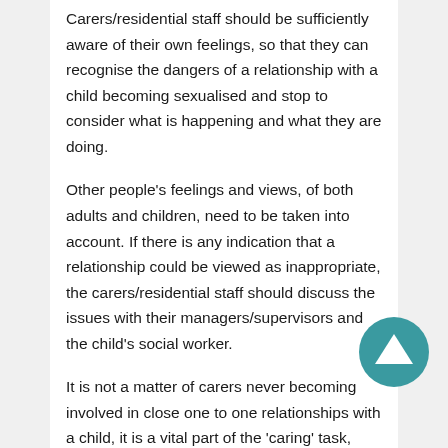Carers/residential staff should be sufficiently aware of their own feelings, so that they can recognise the dangers of a relationship with a child becoming sexualised and stop to consider what is happening and what they are doing.
Other people's feelings and views, of both adults and children, need to be taken into account. If there is any indication that a relationship could be viewed as inappropriate, the carers/residential staff should discuss the issues with their managers/supervisors and the child's social worker.
It is not a matter of carers never becoming involved in close one to one relationships with a child, it is a vital part of the 'caring' task, however, carers must be aware of the dangers, which this type of work can bring and be clear where the boundaries in such